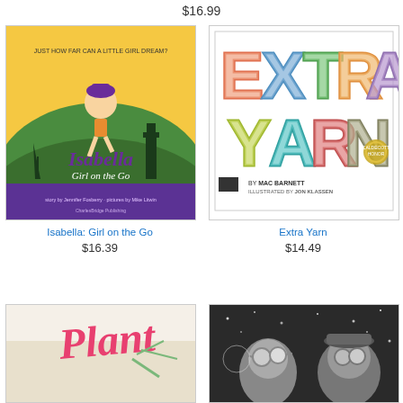$16.99
[Figure (illustration): Book cover: Isabella: Girl on the Go — cartoon girl in purple hat running across globe with world landmarks]
Isabella: Girl on the Go
$16.39
[Figure (illustration): Book cover: Extra Yarn — colorful illustrated letters spelling EXTRA YARN by Mac Barnett, illustrated by Jon Klassen]
Extra Yarn
$14.49
[Figure (illustration): Book cover: Plant — pink handwritten title with palm tree]
[Figure (photo): Book cover — black and white photo of two children wearing aviator goggles and hats against starry background]